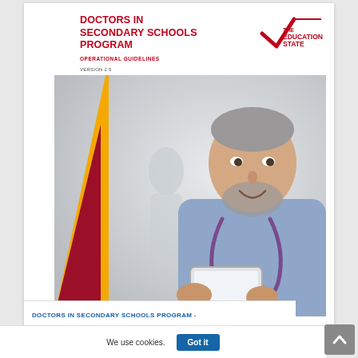DOCTORS IN SECONDARY SCHOOLS PROGRAM
OPERATIONAL GUIDELINES
VERSION 2.5
MARCH 2019
[Figure (logo): The Education State logo — stylized checkmark with text 'THE EDUCATION STATE']
[Figure (photo): Smiling middle-aged male doctor with grey beard holding a tablet, wearing a blue shirt and stethoscope, with a female figure blurred in background. Decorative red and yellow diagonal shapes overlaid on lower-left of image.]
DOCTORS IN SECONDARY SCHOOLS PROGRAM -
We use cookies.
Got it